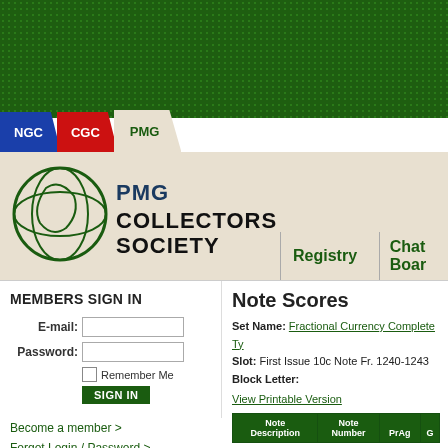[Figure (screenshot): PMG Collectors Society website header with green dotted background]
NGC | CGC | PMG
[Figure (logo): PMG Collectors Society logo with circular globe icon and bold text]
Registry | Chat Boar
MEMBERS SIGN IN
E-mail:
Password:
Remember Me
SIGN IN
Become a member >
Forgot Login / Password >
Request Support >
Note Scores
Set Name: Fractional Currency Complete Ty
Slot: First Issue 10c Note Fr. 1240-1243
Block Letter:
View Printable Version
| Note Description | Note Number | PrAg | G |
| --- | --- | --- | --- |